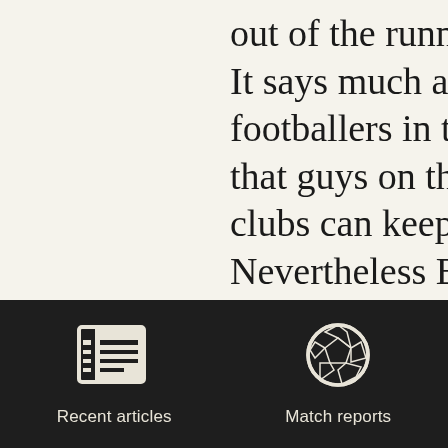out of the running for It says much about the footballers in the mode that guys on the bench clubs can keep everyon Nevertheless Beckett c McCall is growing tire for Michael Boulding b former Tennis professio footballer who went o
[Figure (illustration): Dark footer bar with two navigation icons: a newspaper/articles icon labeled 'Recent articles' and a soccer ball icon labeled 'Match reports']